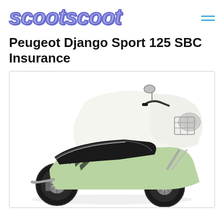scootscoot
Peugeot Django Sport 125 SBC Insurance
[Figure (photo): Peugeot Django Sport 125 SBC scooter in green and white, shown from the rear-left angle on a white background]